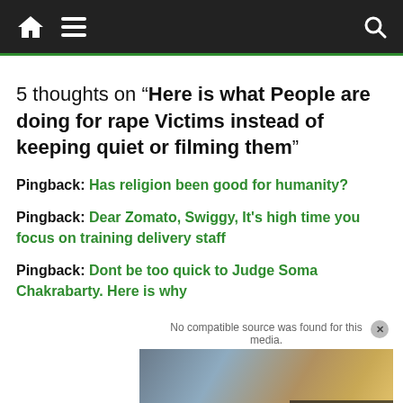Navigation bar with home, menu, and search icons
5 thoughts on “Here is what People are doing for rape Victims instead of keeping quiet or filming them”
Pingback: Has religion been good for humanity?
Pingback: Dear Zomato, Swiggy, It’s high time you focus on training delivery staff
Pingback: Dont be too quick to Judge Soma Chakrabarty. Here is why
[Figure (photo): Advertisement image showing an airplane being loaded with cargo, with overlay text WITHOUT REGARD TO POLITICS, RELIGION, OR HEALTH IN WAR]
No compatible source was found for this media.